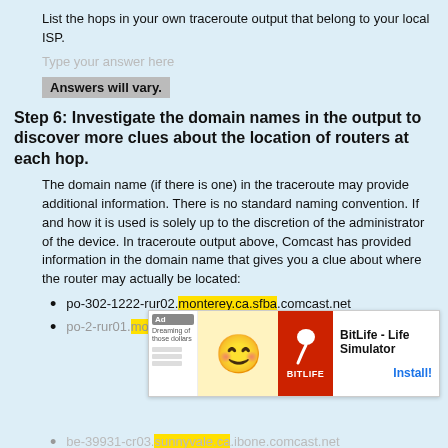List the hops in your own traceroute output that belong to your local ISP.
Type your answer here
Answers will vary.
Step 6: Investigate the domain names in the output to discover more clues about the location of routers at each hop.
The domain name (if there is one) in the traceroute may provide additional information. There is no standard naming convention. If and how it is used is solely up to the discretion of the administrator of the device. In traceroute output above, Comcast has provided information in the domain name that gives you a clue about where the router may actually be located:
po-302-1222-rur02.monterey.ca.sfba.comcast.net
po-2-rur01.monterey.ca.sfba.comcast.net
[Figure (screenshot): Advertisement overlay: BitLife - Life Simulator app ad with Install button]
be-39931-cr03.sunnyvale.ca.ibone.comcast.net
be-1312-cr12.sunnyvale.ca.ibone.comcast.net